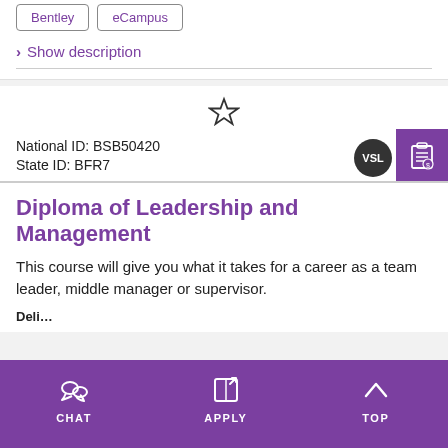Bentley
eCampus
> Show description
National ID: BSB50420
State ID: BFR7
Diploma of Leadership and Management
This course will give you what it takes for a career as a team leader, middle manager or supervisor.
CHAT   APPLY   TOP